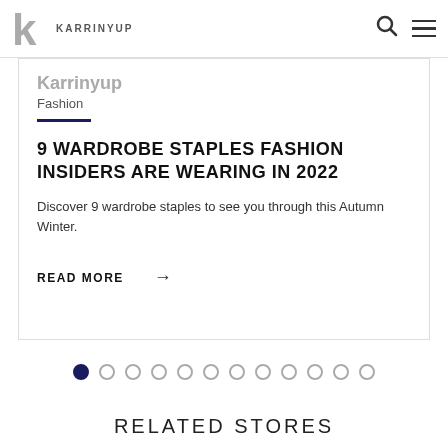KARRINYUP
Karrinyup
Fashion
9 WARDROBE STAPLES FASHION INSIDERS ARE WEARING IN 2022
Discover 9 wardrobe staples to see you through this Autumn Winter.
READ MORE →
[Figure (other): Carousel pagination dots, 12 dots total, first dot filled/active]
RELATED STORES